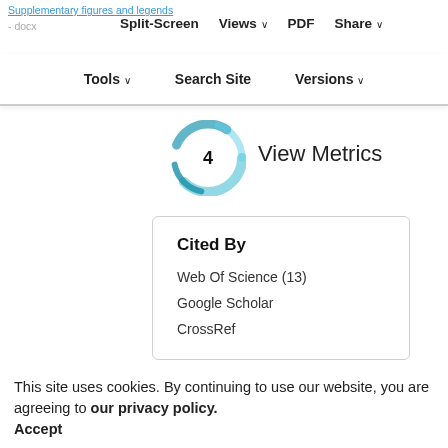Supplementary figures and legends
Split-Screen  Views  PDF  Share
Tools  Search Site  Versions
[Figure (other): Circular teal/blue swirl logo icon with number 4 in center white circle, beside 'View Metrics' text]
View Metrics
Cited By
Web Of Science (13)
Google Scholar
CrossRef
This site uses cookies. By continuing to use our website, you are agreeing to our privacy policy. Accept